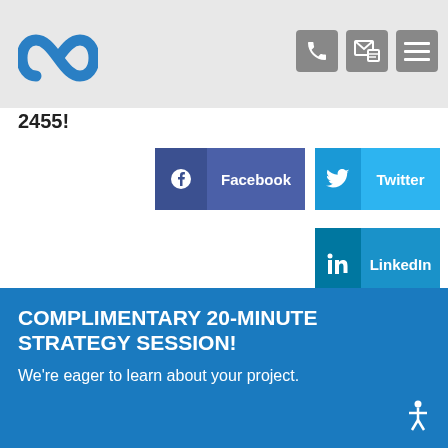[Figure (logo): Blue stylized N/infinity logo mark]
2455!
[Figure (infographic): Facebook, Twitter, and LinkedIn social share buttons]
COMPLIMENTARY 20-MINUTE STRATEGY SESSION!
We're eager to learn about your project.